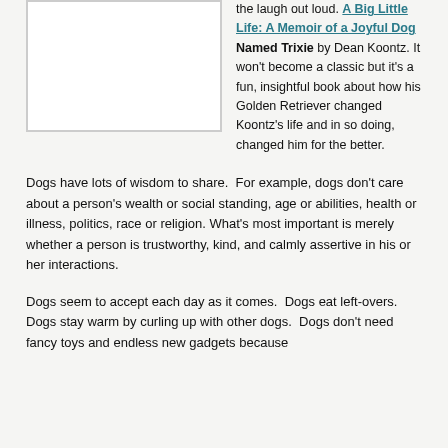[Figure (other): A white rectangular image placeholder with a border, likely a book cover image.]
the laugh out loud. A Big Little Life: A Memoir of a Joyful Dog Named Trixie by Dean Koontz. It won't become a classic but it's a fun, insightful book about how his Golden Retriever changed Koontz's life and in so doing, changed him for the better.
Dogs have lots of wisdom to share. For example, dogs don't care about a person's wealth or social standing, age or abilities, health or illness, politics, race or religion. What's most important is merely whether a person is trustworthy, kind, and calmly assertive in his or her interactions.
Dogs seem to accept each day as it comes. Dogs eat left-overs. Dogs stay warm by curling up with other dogs. Dogs don't need fancy toys and endless new gadgets because